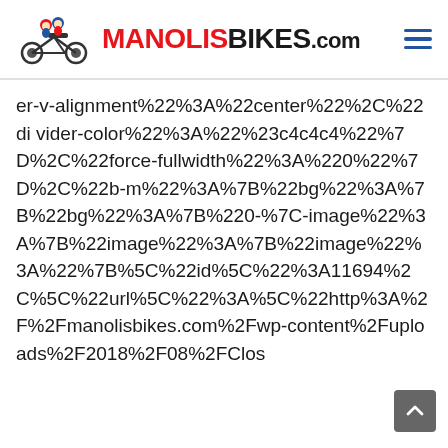[Figure (logo): ManolísBikes.com website header logo with cartoon children riding a motorcycle and red bold brand text]
er-v-alignment%22%3A%22center%22%2C%22divider-color%22%3A%22%23c4c4c4%22%7D%2C%22force-fullwidth%22%3A%220%22%7D%2C%22b-m%22%3A%7B%22bg%22%3A%7B%22bg%22%3A%7B%220-%7C-image%22%3A%7B%22image%22%3A%7B%22image%22%3A%22%7B%5C%22id%5C%22%3A11694%2C%5C%22url%5C%22%3A%5C%22http%3A%2F%2Fmanolisbikes.com%2Fwp-content%2Fuploads%2F2018%2F08%2FClos